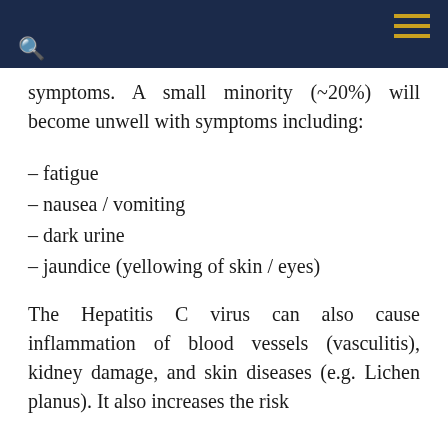symptoms. A small minority (~20%) will become unwell with symptoms including:
– fatigue
– nausea / vomiting
– dark urine
– jaundice (yellowing of skin / eyes)
The Hepatitis C virus can also cause inflammation of blood vessels (vasculitis), kidney damage, and skin diseases (e.g. Lichen planus). It also increases the risk